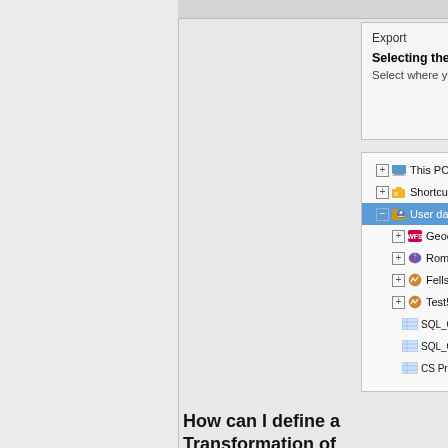[Figure (screenshot): Software UI showing Export dialog with 'Selecting the destination' header and a tree view with user data sources context menu showing 'Create user d...' and 'Refresh' options]
How can I define a Transformation of coordinates when exporting?